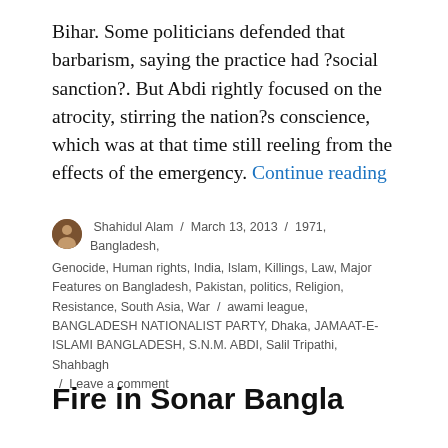Bihar. Some politicians defended that barbarism, saying the practice had ?social sanction?. But Abdi rightly focused on the atrocity, stirring the nation?s conscience, which was at that time still reeling from the effects of the emergency. Continue reading
Shahidul Alam / March 13, 2013 / 1971, Bangladesh, Genocide, Human rights, India, Islam, Killings, Law, Major Features on Bangladesh, Pakistan, politics, Religion, Resistance, South Asia, War / awami league, BANGLADESH NATIONALIST PARTY, Dhaka, JAMAAT-E-ISLAMI BANGLADESH, S.N.M. ABDI, Salil Tripathi, Shahbagh / Leave a comment
Fire in Sonar Bangla